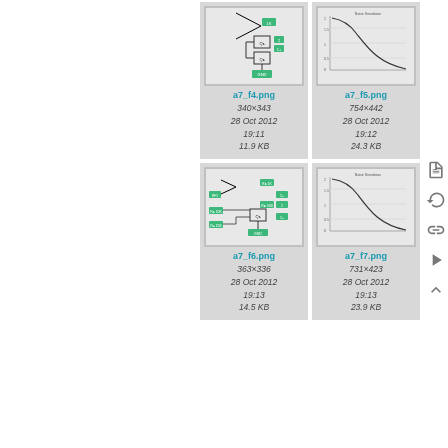[Figure (schematic): Circuit schematic a7_f4.png thumbnail]
a7_f4.png
340×343
28 Oct 2012
19:11
11.9 KB
[Figure (continuous-plot): Graph thumbnail a7_f5.png]
a7_f5.png
754×442
28 Oct 2012
19:12
24.3 KB
[Figure (schematic): Circuit schematic a7_f6.png thumbnail]
a7_f6.png
363×336
28 Oct 2012
19:13
14.5 KB
[Figure (continuous-plot): Graph thumbnail a7_f7.png]
a7_f7.png
731×423
28 Oct 2012
19:13
23.9 KB